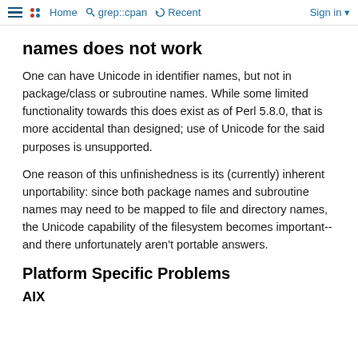Home  grep::cpan  Recent  Sign in
names does not work
One can have Unicode in identifier names, but not in package/class or subroutine names. While some limited functionality towards this does exist as of Perl 5.8.0, that is more accidental than designed; use of Unicode for the said purposes is unsupported.
One reason of this unfinishedness is its (currently) inherent unportability: since both package names and subroutine names may need to be mapped to file and directory names, the Unicode capability of the filesystem becomes important-- and there unfortunately aren't portable answers.
Platform Specific Problems
AIX